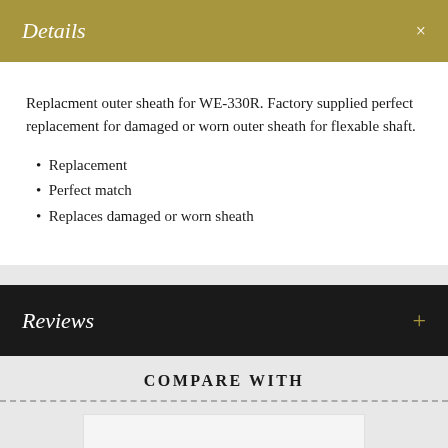Details ×
Replacment outer sheath for WE-330R. Factory supplied perfect replacement for damaged or worn outer sheath for flexable shaft.
Replacement
Perfect match
Replaces damaged or worn sheath
Reviews +
COMPARE WITH